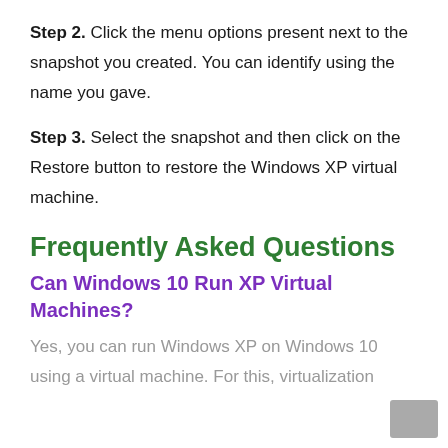Step 2. Click the menu options present next to the snapshot you created. You can identify using the name you gave.
Step 3. Select the snapshot and then click on the Restore button to restore the Windows XP virtual machine.
Frequently Asked Questions
Can Windows 10 Run XP Virtual Machines?
Yes, you can run Windows XP on Windows 10 using a virtual machine. For this, virtualization